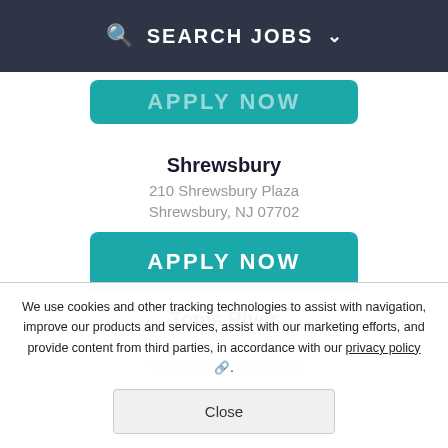SEARCH JOBS
[Figure (screenshot): Partially visible APPLY NOW button (teal, cropped at top)]
Shrewsbury
210 Shrewsbury Plaza
Shrewsbury, NJ 07702
[Figure (screenshot): APPLY NOW button (teal)]
Toms River
2 Route 37 West, Ste G-4
Toms River, NJ 08753
We use cookies and other tracking technologies to assist with navigation, improve our products and services, assist with our marketing efforts, and provide content from third parties, in accordance with our privacy policy.
Close